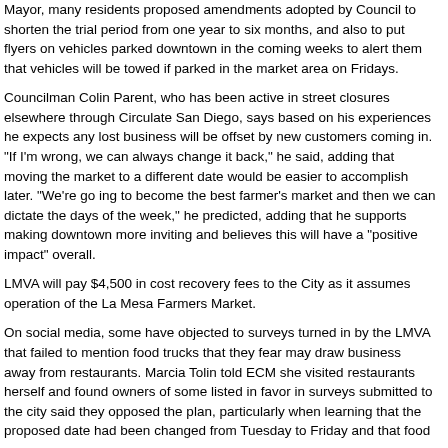Mayor, many residents proposed amendments adopted by Council to shorten the trial period from one year to six months, and also to put flyers on vehicles parked downtown in the coming weeks to alert them that vehicles will be towed if parked in the market area on Fridays.
Councilman Colin Parent, who has been active in street closures elsewhere through Circulate San Diego, says based on his experiences he expects any lost business will be offset by new customers coming in. "If I'm wrong, we can always change it back," he said, adding that moving the market to a different date would be easier to accomplish later. "We're go ing to become the best farmer's market and then we can dictate the days of the week," he predicted, adding that he supports making downtown more inviting and believes this will have a "positive impact" overall.
LMVA will pay $4,500 in cost recovery fees to the City as it assumes operation of the La Mesa Farmers Market.
On social media, some have objected to surveys turned in by the LMVA that failed to mention food trucks that they fear may draw business away from restaurants. Marcia Tolin told ECM she visited restaurants herself and found owners of some listed in favor in surveys submitted to the city said they opposed the plan, particularly when learning that the proposed date had been changed from Tuesday to Friday and that food